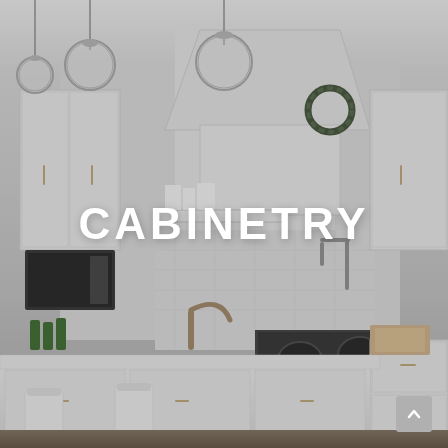[Figure (photo): A bright modern white kitchen with an island, bar stools, pendant globe lights, a large range hood, open shelving, stainless steel range, and gold/brass hardware. The image has a slight gray overlay. The word CABINETRY is overlaid in large bold white uppercase letters in the center of the image. A small gray scroll-up button appears in the bottom-right corner.]
CABINETRY